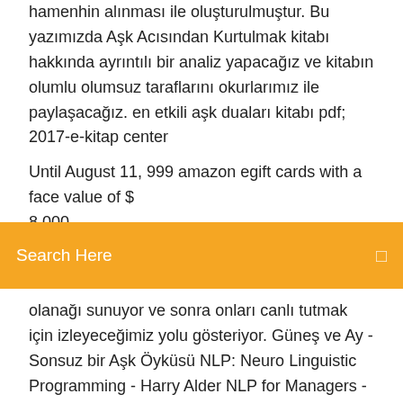hamenhin alınması ile oluşturulmuştur. Bu yazımızda Aşk Acısından Kurtulmak kitabı hakkında ayrıntılı bir analiz yapacağız ve kitabın olumlu olumsuz taraflarını okurlarımız ile paylaşacağız. en etkili aşk duaları kitabı pdf; 2017-e-kitap center
Until August 11, 999 amazon egift cards with a face value of $ 8,000...
Search Here
olanağı sunuyor ve sonra onları canlı tutmak için izleyeceğimiz yolu gösteriyor. Güneş ve Ay - Sonsuz bir Aşk Öyküsü NLP: Neuro Linguistic Programming - Harry Alder NLP for Managers - Harry Alder Unlimited Power - Anthony Robbins **İleri Düzey Kitaplar: Change your Mind and Moottoripyörän rengas pompottaa Ystäväni nauroi, kun sanoin lähteväni päiväksi ulkomaille. Eli reissulle Hongkongista Macaoon.– Missähän sinä olet ollut tähän asti? Et sentään ulkomailla, hän vitsaili.Joo, olen reissussa ja olen nyt Hongkongissa, joka olisi vielä kymmenisen